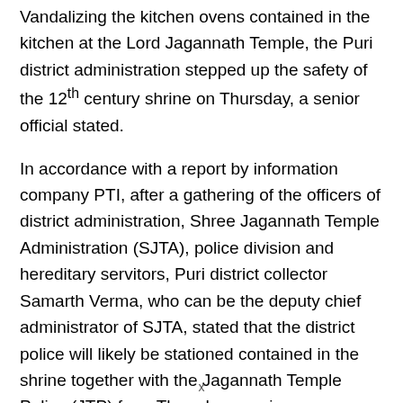Vandalizing the kitchen ovens contained in the kitchen at the Lord Jagannath Temple, the Puri district administration stepped up the safety of the 12th century shrine on Thursday, a senior official stated.
In accordance with a report by information company PTI, after a gathering of the officers of district administration, Shree Jagannath Temple Administration (SJTA), police division and hereditary servitors, Puri district collector Samarth Verma, who can be the deputy chief administrator of SJTA, stated that the district police will likely be stationed contained in the shrine together with the Jagannath Temple Police (JTP) from Thursday evening.
Verma stated that the dialogue was held on bolstering the safety on the temple within the wake of the oven vandalization that has uncovered the lacunae within the present safety association, as